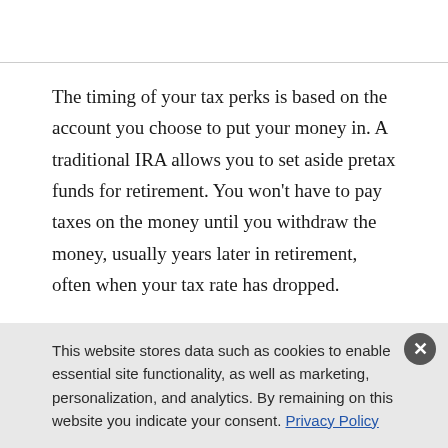The timing of your tax perks is based on the account you choose to put your money in. A traditional IRA allows you to set aside pretax funds for retirement. You won't have to pay taxes on the money until you withdraw the money, usually years later in retirement, often when your tax rate has dropped.
This website stores data such as cookies to enable essential site functionality, as well as marketing, personalization, and analytics. By remaining on this website you indicate your consent. Privacy Policy